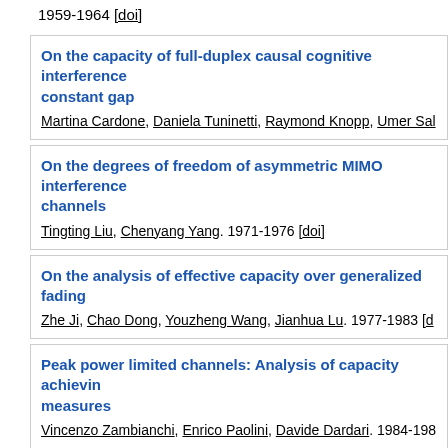1959-1964 [doi]
On the capacity of full-duplex causal cognitive interference constant gap
Martina Cardone, Daniela Tuninetti, Raymond Knopp, Umer Sal
On the degrees of freedom of asymmetric MIMO interference channels
Tingting Liu, Chenyang Yang. 1971-1976 [doi]
On the analysis of effective capacity over generalized fading
Zhe Ji, Chao Dong, Youzheng Wang, Jianhua Lu. 1977-1983 [doi]
Peak power limited channels: Analysis of capacity achieving measures
Vincenzo Zambianchi, Enrico Paolini, Davide Dardari. 1984-198
Quick, decentralized, one-shot max function computation u... selection